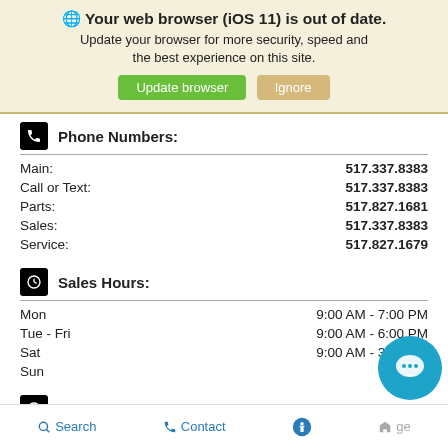🌐 Your web browser (iOS 11) is out of date. Update your browser for more security, speed and the best experience on this site. [Update browser] [Ignore]
Phone Numbers:
|  |  |
| --- | --- |
| Main: | 517.337.8383 |
| Call or Text: | 517.337.8383 |
| Parts: | 517.827.1681 |
| Sales: | 517.337.8383 |
| Service: | 517.827.1679 |
Sales Hours:
|  |  |
| --- | --- |
| Mon | 9:00 AM - 7:00 PM |
| Tue - Fri | 9:00 AM - 6:00 PM |
| Sat | 9:00 AM - 3:00 PM |
| Sun | Closed |
Service Hours:
Mon - Fri   8:00 AM - 6:...
Search   Contact   [accessibility icon]   [home]  ge